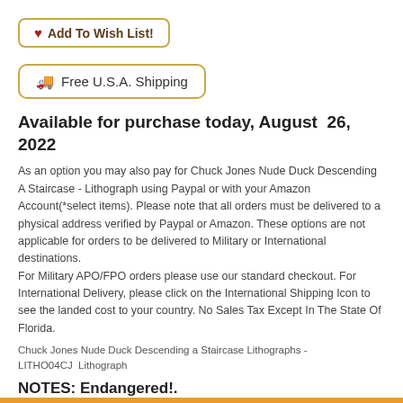♥ Add To Wish List!
🚚 Free U.S.A. Shipping
Available for purchase today, August  26, 2022
As an option you may also pay for Chuck Jones Nude Duck Descending A Staircase - Lithograph using Paypal or with your Amazon Account(*select items). Please note that all orders must be delivered to a physical address verified by Paypal or Amazon. These options are not applicable for orders to be delivered to Military or International destinations.
For Military APO/FPO orders please use our standard checkout. For International Delivery, please click on the International Shipping Icon to see the landed cost to your country. No Sales Tax Except In The State Of Florida.
Chuck Jones Nude Duck Descending a Staircase Lithographs - LITHO04CJ  Lithograph
NOTES: Endangered!.
Nude Duck Descending A Staircase  Lithograph by Chuck Jones